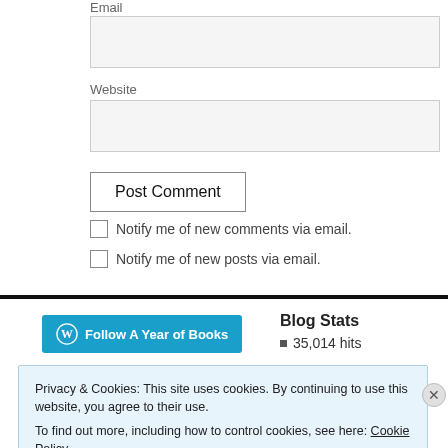Email
Website
Post Comment
Notify me of new comments via email.
Notify me of new posts via email.
Follow A Year of Books
Blog Stats
35,014 hits
Privacy & Cookies: This site uses cookies. By continuing to use this website, you agree to their use.
To find out more, including how to control cookies, see here: Cookie Policy
Close and accept